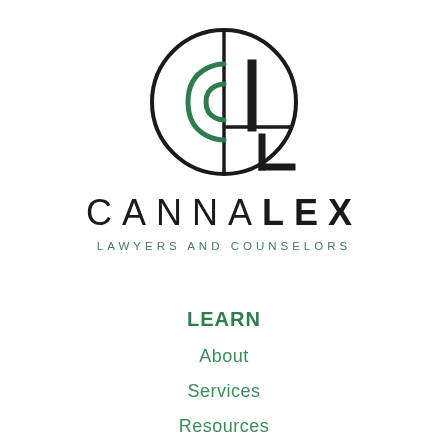[Figure (logo): Cannalex circular logo with stylized C and L letters inside a circle, green C element]
CANNALEX
LAWYERS AND COUNSELORS
LEARN
About
Services
Resources